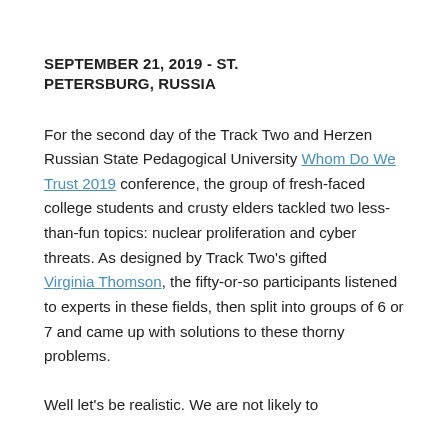SEPTEMBER 21, 2019 - ST. PETERSBURG, RUSSIA
For the second day of the Track Two and Herzen Russian State Pedagogical University Whom Do We Trust 2019 conference, the group of fresh-faced college students and crusty elders tackled two less-than-fun topics: nuclear proliferation and cyber threats. As designed by Track Two’s gifted Virginia Thomson, the fifty-or-so participants listened to experts in these fields, then split into groups of 6 or 7 and came up with solutions to these thorny problems.
Well let’s be realistic. We are not likely to